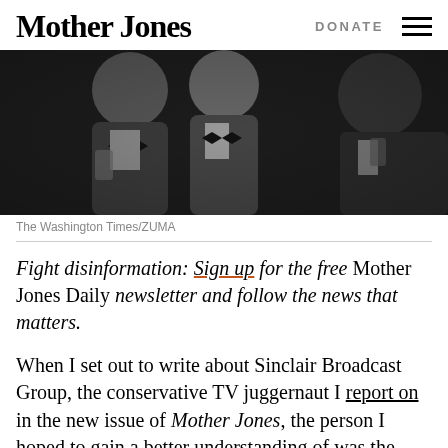Mother Jones   DONATE
[Figure (photo): Black and white photo of men in tuxedos at a formal event, holding drinks and smiling]
The Washington Times/ZUMA
Fight disinformation: Sign up for the free Mother Jones Daily newsletter and follow the news that matters.
When I set out to write about Sinclair Broadcast Group, the conservative TV juggernaut I report on in the new issue of Mother Jones, the person I hoped to gain a better understanding of was the man behind Sinclair's rise, executive chairman and former CEO David Smith. He sits atop a